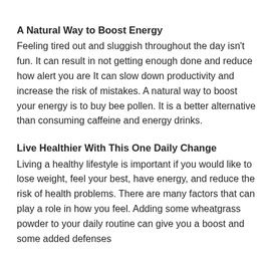A Natural Way to Boost Energy
Feeling tired out and sluggish throughout the day isn't fun. It can result in not getting enough done and reduce how alert you are It can slow down productivity and increase the risk of mistakes. A natural way to boost your energy is to buy bee pollen. It is a better alternative than consuming caffeine and energy drinks.
Live Healthier With This One Daily Change
Living a healthy lifestyle is important if you would like to lose weight, feel your best, have energy, and reduce the risk of health problems. There are many factors that can play a role in how you feel. Adding some wheatgrass powder to your daily routine can give you a boost and some added defenses